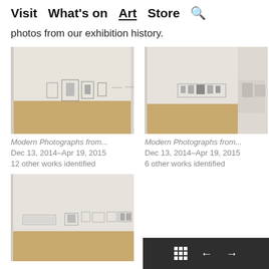Visit  What's on  Art  Store  🔍
photos from our exhibition history.
[Figure (photo): Gallery interior showing artworks hung on white walls with wooden floor - left image]
Modern Photographs from...
Dec 13, 2014–Apr 19, 2015
12 other works identified
[Figure (photo): Gallery interior showing artworks hung on white walls with wooden floor - right image]
Modern Photographs from...
Dec 13, 2014–Apr 19, 2015
6 other works identified
[Figure (photo): Gallery interior with artworks on walls and wooden floor - bottom left image]